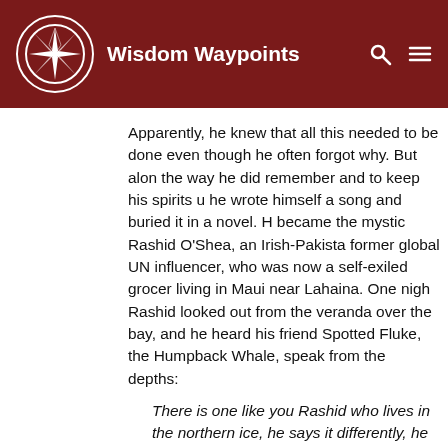Wisdom Waypoints
Apparently, he knew that all this needed to be done even though he often forgot why. But along the way he did remember and to keep his spirits up he wrote himself a song and buried it in a novel. He became the mystic Rashid O'Shea, an Irish-Pakistani former global UN influencer, who was now a self-exiled grocer living in Maui near Lahaina. One night Rashid looked out from the veranda over the bay, and he heard his friend Spotted Fluke, the Humpback Whale, speak from the depths:
There is one like you Rashid who lives in the northern ice, he says it differently, he speaks of a Parent of us all, he says: She is a woman, gentle, and She speaks to us in the murmuring of clouds, softly as a tuft of cloud whispering to each